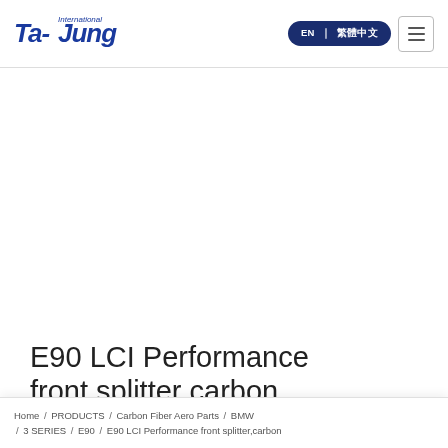Ta-Jung International — EN | 繁體中文 navigation header
[Figure (logo): Ta-Jung International logo in blue italic bold lettering]
E90 LCI Performance front splitter carbon
Home / PRODUCTS / Carbon Fiber Aero Parts / BMW / 3 SERIES / E90 / E90 LCI Performance front splitter,carbon